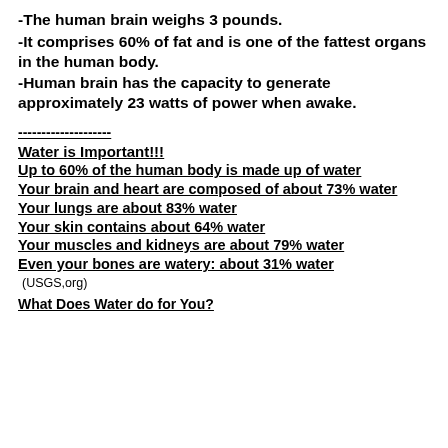-The human brain weighs 3 pounds.
-It comprises 60% of fat and is one of the fattest organs in the human body.
-Human brain has the capacity to generate approximately 23 watts of power when awake.
--------------------
Water is Important!!!
Up to 60% of the human body is made up of water
Your brain and heart are composed of about 73% water
Your lungs are about 83% water
Your skin contains about 64% water
Your muscles and kidneys are about 79% water
Even your bones are watery: about 31% water
(USGS,org)
What Does Water do for You?